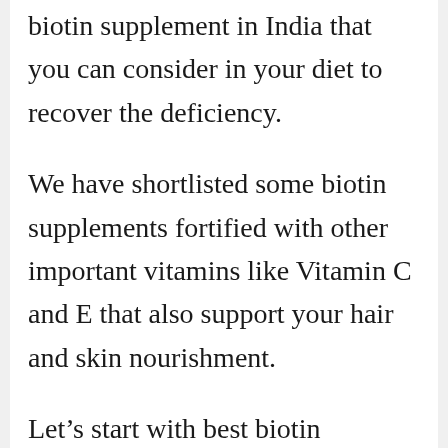biotin supplement in India that you can consider in your diet to recover the deficiency.
We have shortlisted some biotin supplements fortified with other important vitamins like Vitamin C and E that also support your hair and skin nourishment.
Let's start with best biotin supplement brands and then we'll move to best biotin supplements available in India.